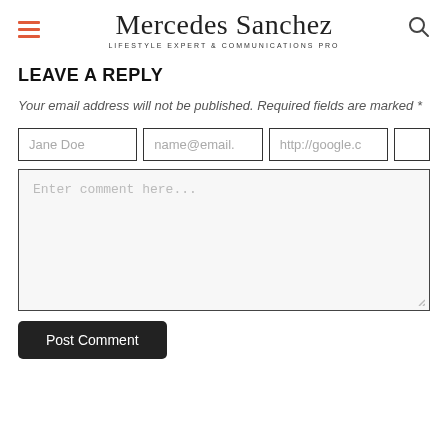Mercedes Sanchez — LIFESTYLE EXPERT & COMMUNICATIONS PRO
LEAVE A REPLY
Your email address will not be published. Required fields are marked *
[Figure (screenshot): Comment form with Name (Jane Doe), Email (name@email.), Website (http://google.c) input fields and a small checkbox, plus a large comment textarea with placeholder 'Enter comment here...' and a Post Comment button]